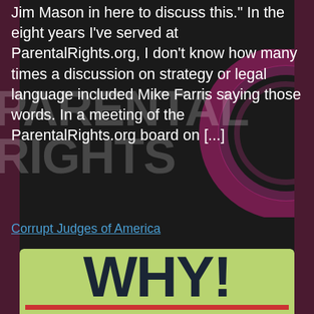Jim Mason in here to discuss this." In the eight years I've served at ParentalRights.org, I don't know how many times a discussion on strategy or legal language included Mike Farris saying those words. In a meeting of the ParentalRights.org board on [...]
Corrupt Judges of America
[Figure (photo): A hand-painted sign in dark letters on a light green background reading: WHY! TOLERATE BIASED "JUDGES" with red and blue horizontal lines separating sections. The bottom of the sign is partially cut off.]